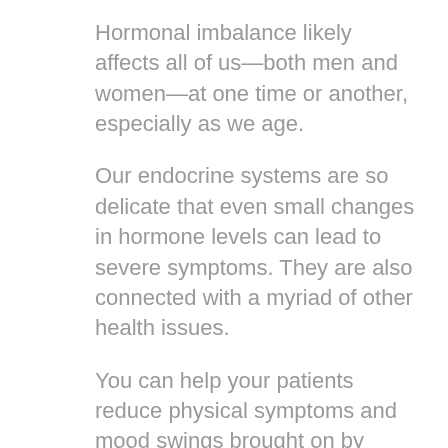Hormonal imbalance likely affects all of us—both men and women—at one time or another, especially as we age.
Our endocrine systems are so delicate that even small changes in hormone levels can lead to severe symptoms. They are also connected with a myriad of other health issues.
You can help your patients reduce physical symptoms and mood swings brought on by hormonal imbalance with bioidentical hormone replacement therapy (BHRT)—this treatment is considered by